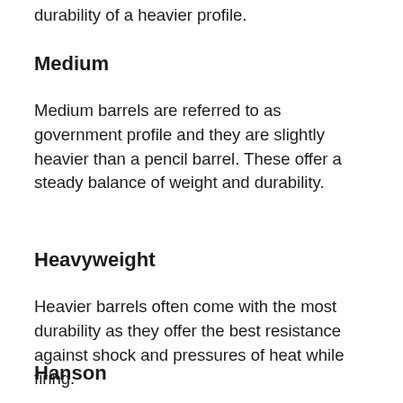durability of a heavier profile.
Medium
Medium barrels are referred to as government profile and they are slightly heavier than a pencil barrel. These offer a steady balance of weight and durability.
Heavyweight
Heavier barrels often come with the most durability as they offer the best resistance against shock and pressures of heat while firing.
Hanson
There's another type of barrel that carries a